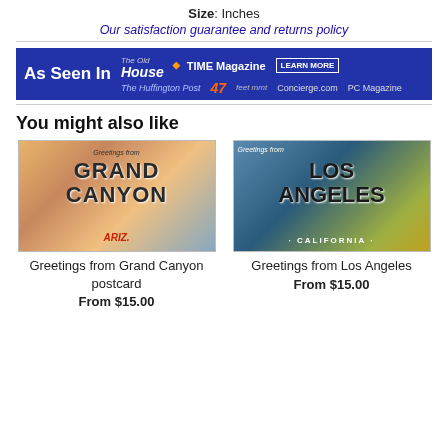Size: Inches
Our satisfaction guarantee and returns policy
[Figure (banner): As Seen In banner with logos: This Old House, TIME Magazine, The Huffington Post, 47 feet mnt, Concierge.com, PC Magazine, with LEARN MORE button]
You might also like
[Figure (photo): Vintage postcard: Greetings from Grand Canyon, ARIZ.]
Greetings from Grand Canyon postcard
From $15.00
[Figure (photo): Vintage postcard: Greetings from Los Angeles, California]
Greetings from Los Angeles
From $15.00